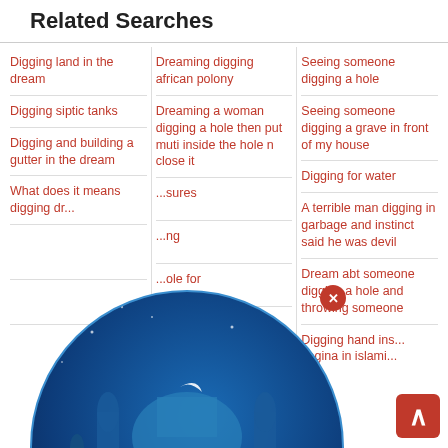Related Searches
Digging land in the dream
Dreaming digging african polony
Seeing someone digging a hole
Digging siptic tanks
Dreaming a woman digging a hole then put muti inside the hole n close it
Seeing someone digging a grave in front of my house
Digging and building a gutter in the dream
Digging for water
What does it means digging ... dr...
...sures
A terrible man digging in garbage and instinct said he was devil
...ng
Dream abt someone digging a hole and throwing someone
...ole for
Digging hand ins... vagina in islami...
Dreaming digging...
[Figure (logo): Islamic Dream Interpretation .org circular logo with blue mosque silhouette background and red/blue text]